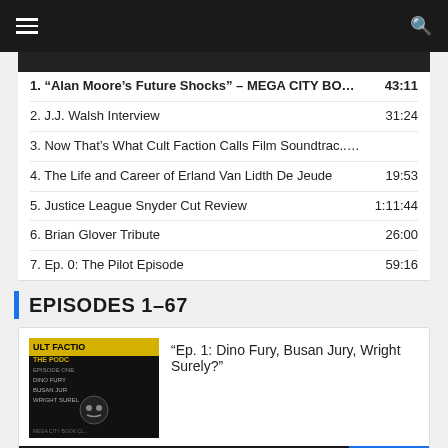Navigation bar with hamburger menu and search icon
1. “Alan Moore’s Future Shocks” – MEGA CITY BOOK CL... 43:11
2. J.J. Walsh Interview  31:24
3. Now That’s What Cult Faction Calls Film Soundtrac..1:19:07
4. The Life and Career of Erland Van Lidth De Jeude  19:53
5. Justice League Snyder Cut Review  1:11:44
6. Brian Glover Tribute  26:00
7. Ep. 0: The Pilot Episode  59:16
EPISODES 1–67
[Figure (screenshot): Podcast episode card showing thumbnail image for Cult Faction The Podcast with episode title and audio player]
1. Ep. 1: Dino Fury, Busan Jury, Wright Surely?  50:38